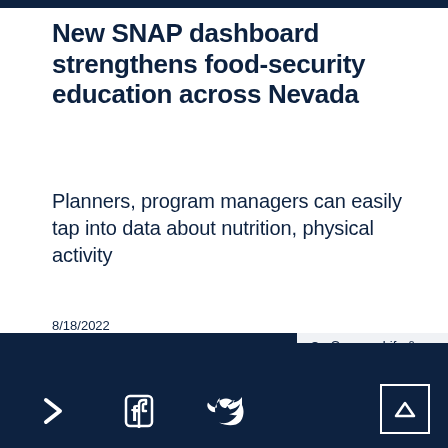New SNAP dashboard strengthens food-security education across Nevada
Planners, program managers can easily tap into data about nutrition, physical activity
8/18/2022
Campus Life & Athletics
> f △